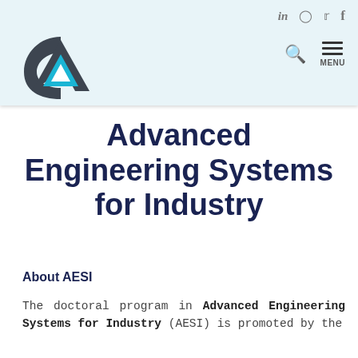[Figure (logo): AESI logo — dark grey and cyan blue abstract letter A shape with triangle cutout]
in  Instagram  Twitter  f  [search]  MENU
Advanced Engineering Systems for Industry
About AESI
The doctoral program in Advanced Engineering Systems for Industry (AESI) is promoted by the